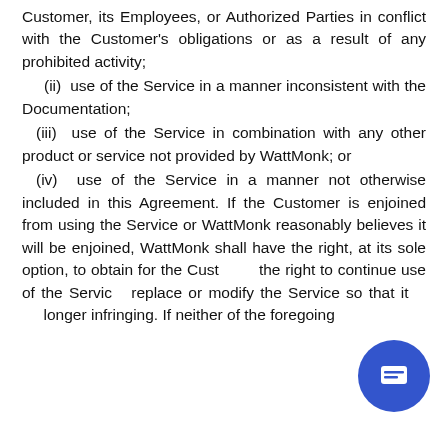Customer, its Employees, or Authorized Parties in conflict with the Customer's obligations or as a result of any prohibited activity;
(ii) use of the Service in a manner inconsistent with the Documentation;
(iii) use of the Service in combination with any other product or service not provided by WattMonk; or
(iv) use of the Service in a manner not otherwise included in this Agreement. If the Customer is enjoined from using the Service or WattMonk reasonably believes it will be enjoined, WattMonk shall have the right, at its sole option, to obtain for the Customer the right to continue use of the Service, replace or modify the Service so that it is no longer infringing. If neither of the foregoing